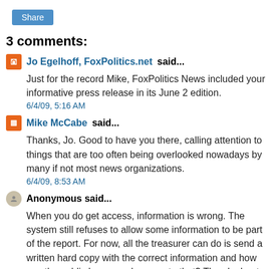Share
3 comments:
Jo Egelhoff, FoxPolitics.net said...
Just for the record Mike, FoxPolitics News included your informative press release in its June 2 edition.
6/4/09, 5:16 AM
Mike McCabe said...
Thanks, Jo. Good to have you there, calling attention to things that are too often being overlooked nowadays by many if not most news organizations.
6/4/09, 8:53 AM
Anonymous said...
When you do get access, information is wrong. The system still refuses to allow some information to be part of the report. For now, all the treasurer can do is send a written hard copy with the correct information and how can the public have good access to that? The elephant can not